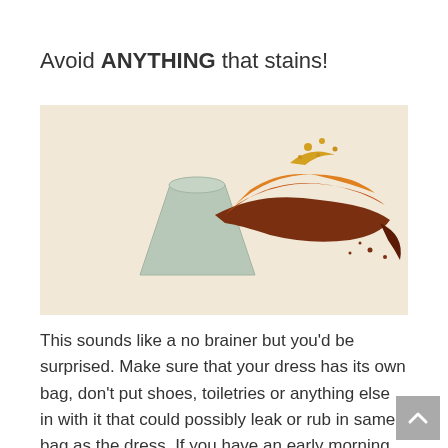Avoid ANYTHING that stains!
[Figure (photo): A paper cup tipped over with dark brown liquid (coffee or similar) splashing out dramatically against a light beige/cream background]
This sounds like a no brainer but you'd be surprised. Make sure that your dress has its own bag, don't put shoes, toiletries or anything else in with it that could possibly leak or rub in same bag as the dress. If you have an early morning flight keep that